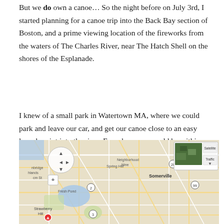But we do own a canoe… So the night before on July 3rd, I started planning for a canoe trip into the Back Bay section of Boston, and a prime viewing location of the fireworks from the waters of The Charles River, near The Hatch Shell on the shores of the Esplanade.
I knew of a small park in Watertown MA, where we could park and leave our car, and get our canoe close to an easy launch point into the river. From here, we would be within a reasonable paddling distance of six miles to the Hatch Shell. I knew from experience that my wife and I could cover the 6 miles one way in our canoe, in about 2 hours.
[Figure (map): Google Maps screenshot showing the Boston/Cambridge/Somerville/Watertown area with road network, including landmarks such as Fresh Pond, Spring Hill, Somerville, Mystic River, Ten Hills, and Strawberry Hill. A Satellite/Traffic toggle is visible in the upper right corner.]